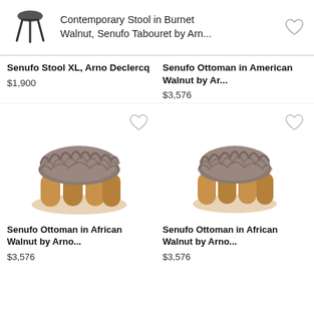Contemporary Stool in Burnet Walnut, Senufo Tabouret by Arn...
Senufo Stool XL, Arno Declercq
$1,900
Senufo Ottoman in American Walnut by Ar...
$3,576
[Figure (photo): Senufo Ottoman with gray fur top and wooden base - left]
[Figure (photo): Senufo Ottoman with gray fur top and wooden base - right]
Senufo Ottoman in African Walnut by Arno...
$3,576
Senufo Ottoman in African Walnut by Arno...
$3,576